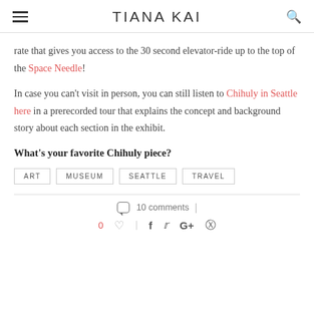TIANA KAI
rate that gives you access to the 30 second elevator-ride up to the top of the Space Needle!
In case you can't visit in person, you can still listen to Chihuly in Seattle here in a prerecorded tour that explains the concept and background story about each section in the exhibit.
What's your favorite Chihuly piece?
ART  MUSEUM  SEATTLE  TRAVEL
10 comments
0